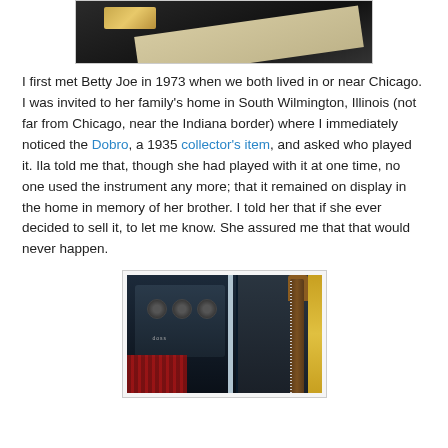[Figure (photo): Top portion of a photo showing a dark background with what appears to be a gold-colored object and paper/document on a dark surface.]
I first met Betty Joe in 1973 when we both lived in or near Chicago. I was invited to her family's home in South Wilmington, Illinois (not far from Chicago, near the Indiana border) where I immediately noticed the Dobro, a 1935 collector's item, and asked who played it. Ila told me that, though she had played with it at one time, no one used the instrument any more; that it remained on display in the home in memory of her brother. I told her that if she ever decided to sell it, to let me know. She assured me that that would never happen.
[Figure (photo): Photo showing musical instruments and equipment including an amplifier with speakers, guitar neck visible, red patterned fabric, and various music gear in a dark setting.]